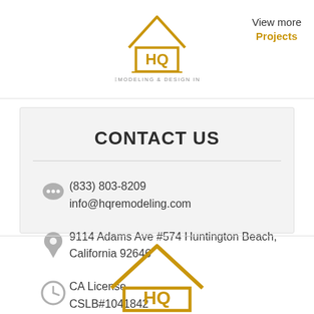[Figure (logo): HQ Remodeling & Design Inc logo with house icon and text]
View more
Projects
CONTACT US
(833) 803-8209
info@hqremodeling.com
9114 Adams Ave #574 Huntington Beach, California 92646
CA License
CSLB#1041842
[Figure (logo): HQ Remodeling & Design Inc logo (partial, bottom of page)]